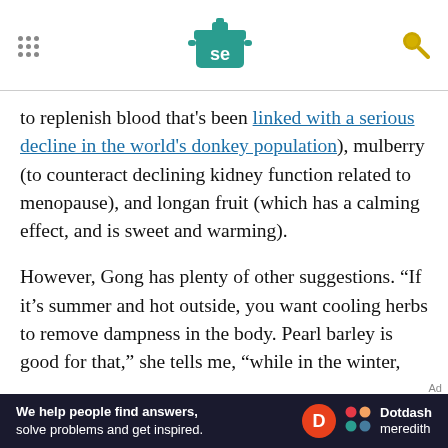Serious Eats header with logo and navigation
to replenish blood that's been linked with a serious decline in the world's donkey population), mulberry (to counteract declining kidney function related to menopause), and longan fruit (which has a calming effect, and is sweet and warming).
However, Gong has plenty of other suggestions. “If it’s summer and hot outside, you want cooling herbs to remove dampness in the body. Pearl barley is good for that,” she tells me, “while in the winter, add more warmth with ginger and warming spices like star anise and black cardamom.”
[Figure (infographic): Dotdash Meredith advertisement banner: 'We help people find answers, solve problems and get inspired.']